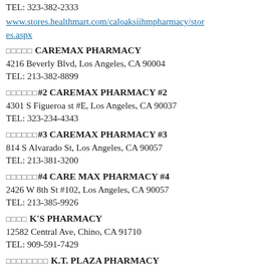TEL: 323-382-2333
www.stores.healthmart.com/caloaksiihmpharmacy/stores.aspx
□□□□□ CAREMAX PHARMACY
4216 Beverly Blvd, Los Angeles, CA 90004
TEL: 213-382-8899
□□□□□□#2 CAREMAX PHARMACY #2
4301 S Figueroa st #E, Los Angeles, CA 90037
TEL: 323-234-4343
□□□□□□#3 CAREMAX PHARMACY #3
814 S Alvarado St, Los Angeles, CA 90057
TEL: 213-381-3200
□□□□□□#4 CARE MAX PHARMACY #4
2426 W 8th St #102, Los Angeles, CA 90057
TEL: 213-385-9926
□□□□ K'S PHARMACY
12582 Central Ave, Chino, CA 91710
TEL: 909-591-7429
□□□□□□□□ K.T. PLAZA PHARMACY
928 S Western Ave #110, Los Angeles, CA 90006
TEL: 213-382-0212